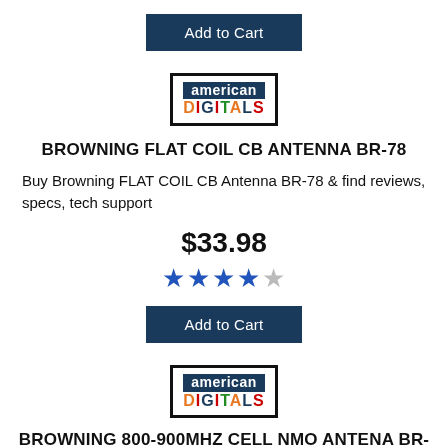[Figure (logo): American Digitals logo - dark bordered box with 'american' in white on dark blue background and 'DIGITALS' in multicolor letters]
BROWNING FLAT COIL CB ANTENNA BR-78
Buy Browning FLAT COIL CB Antenna BR-78 & find reviews, specs, tech support
$33.98
[Figure (other): 4 filled blue stars and 1 empty/gray star rating]
Add to Cart
[Figure (logo): American Digitals logo - dark bordered box with 'american' in white on dark blue background and 'DIGITALS' in multicolor letters]
BROWNING 800-900MHZ CELL NMO ANTENA BR-810